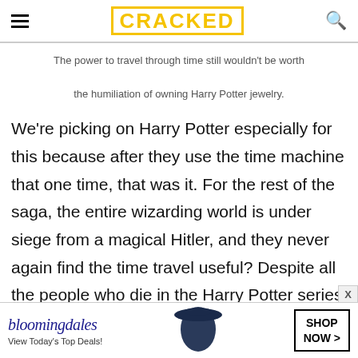CRACKED
The power to travel through time still wouldn't be worth the humiliation of owning Harry Potter jewelry.
We're picking on Harry Potter especially for this because after they use the time machine that one time, that was it. For the rest of the saga, the entire wizarding world is under siege from a magical Hitler, and they never again find the time travel useful? Despite all the people who die in the Harry Potter series (and post Azkaban, they start killing them off li…